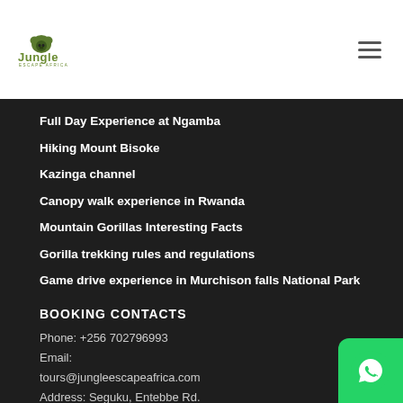[Figure (logo): Jungle Escape Africa logo with gorilla icon and green text]
Full Day Experience at Ngamba
Hiking Mount Bisoke
Kazinga channel
Canopy walk experience in Rwanda
Mountain Gorillas Interesting Facts
Gorilla trekking rules and regulations
Game drive experience in Murchison falls National Park
BOOKING CONTACTS
Phone: +256 702796993
Email:
tours@jungleescapeafrica.com
Address: Seguku, Entebbe Rd.